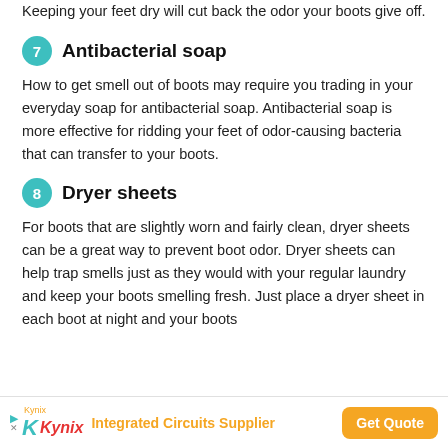Keeping your feet dry will cut back the odor your boots give off.
7 Antibacterial soap
How to get smell out of boots may require you trading in your everyday soap for antibacterial soap. Antibacterial soap is more effective for ridding your feet of odor-causing bacteria that can transfer to your boots.
8 Dryer sheets
For boots that are slightly worn and fairly clean, dryer sheets can be a great way to prevent boot odor. Dryer sheets can help trap smells just as they would with your regular laundry and keep your boots smelling fresh. Just place a dryer sheet in each boot at night and your boots
[Figure (other): Kynix advertisement banner: Integrated Circuits Supplier with Get Quote button]